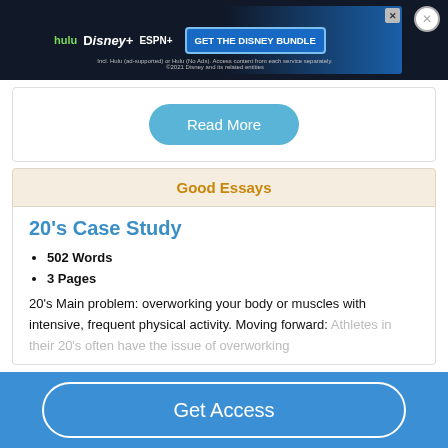[Figure (screenshot): Disney Bundle advertisement banner with Hulu, Disney+, ESPN+ logos and 'GET THE DISNEY BUNDLE' call to action button]
Read More
Good Essays
20's Case Study
502 Words
3 Pages
20's Main problem: overworking your body or muscles with intensive, frequent physical activity. Moving forward: Athletes in their 20's often have the issue of overworking
Get Access